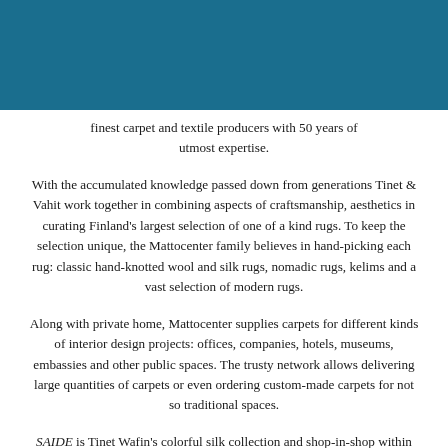[Figure (other): Teal/dark blue header bar spanning the top of the page]
finest carpet and textile producers with 50 years of utmost expertise.
With the accumulated knowledge passed down from generations Tinet & Vahit work together in combining aspects of craftsmanship, aesthetics in curating Finland's largest selection of one of a kind rugs. To keep the selection unique, the Mattocenter family believes in hand-picking each rug: classic hand-knotted wool and silk rugs, nomadic rugs, kelims and a vast selection of modern rugs.
Along with private home, Mattocenter supplies carpets for different kinds of interior design projects: offices, companies, hotels, museums, embassies and other public spaces. The trusty network allows delivering large quantities of carpets or even ordering custom-made carpets for not so traditional spaces.
SAIDE is Tinet Wafin's colorful silk collection and shop-in-shop within the Mattocenter concept and online: